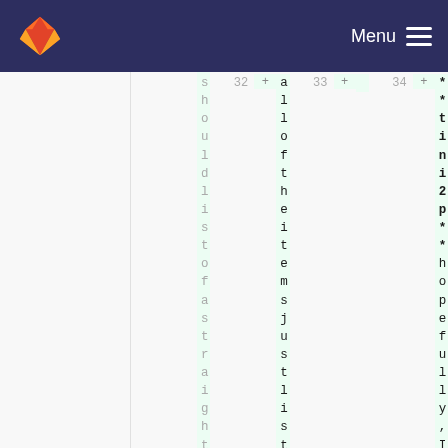GitLab navigation header with Menu button
should list of a straightforward swap
32  +  all of the items just listed will likely take me until alpha-release on 2019-07-10
33  +
34  +  **tini2p** hopefully, I will meet the alpha-release goal of tini2p routers being able to communicate with each